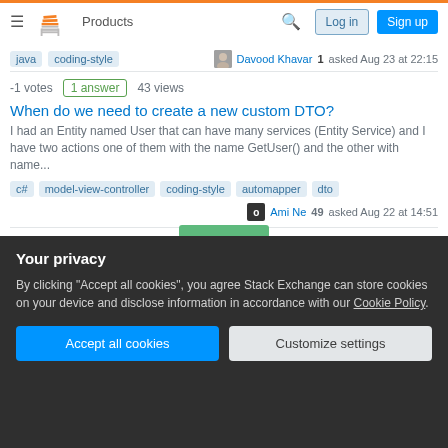Stack Overflow — hamburger, logo, Products, search, Log in, Sign up
tags: java, coding-style | Davood Khavar 1 asked Aug 23 at 22:15
-1 votes  1 answer  43 views
When do we need to create a new custom DTO?
I had an Entity named User that can have many services (Entity Service) and I have two actions one of them with the name GetUser() and the other with name...
tags: c#, model-view-controller, coding-style, automapper, dto
Ami Ne 49 asked Aug 22 at 14:51
-1 votes  0 answers  20 views
Your privacy
By clicking "Accept all cookies", you agree Stack Exchange can store cookies on your device and disclose information in accordance with our Cookie Policy.
Accept all cookies | Customize settings